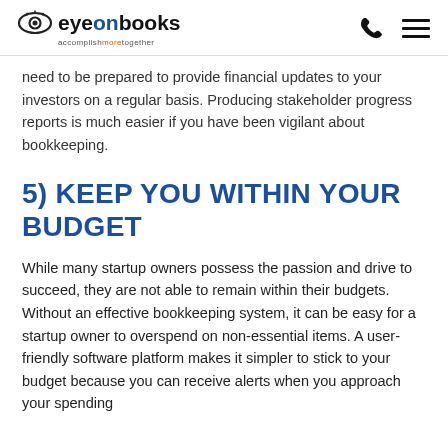eyeonbooks — accomplish more together
need to be prepared to provide financial updates to your investors on a regular basis. Producing stakeholder progress reports is much easier if you have been vigilant about bookkeeping.
5) KEEP YOU WITHIN YOUR BUDGET
While many startup owners possess the passion and drive to succeed, they are not able to remain within their budgets. Without an effective bookkeeping system, it can be easy for a startup owner to overspend on non-essential items. A user-friendly software platform makes it simpler to stick to your budget because you can receive alerts when you approach your spending